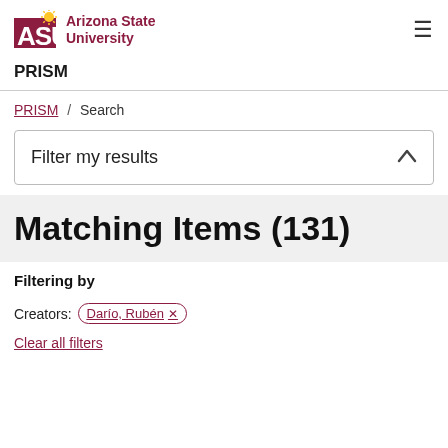ASU Arizona State University PRISM
PRISM / Search
Filter my results
Matching Items (131)
Filtering by
Creators: Darío, Rubén ×
Clear all filters